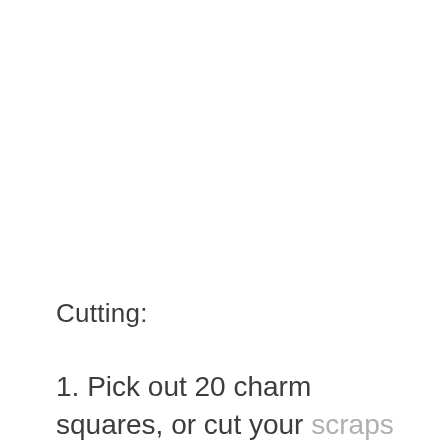Cutting:
1. Pick out 20 charm squares, or cut your scraps into 5″ long strips – enough to make a 90″ long piece.